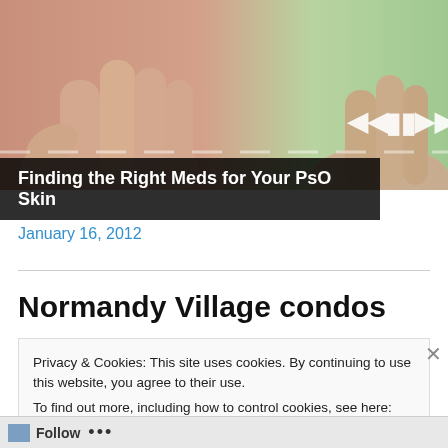[Figure (photo): Close-up photo of two hands (palms, fingers) on a gradient background from skin-tone to light green, with media player controls (previous, pause, next) and a progress bar overlay.]
Finding the Right Meds for Your PsO Skin
January 16, 2012
Normandy Village condos
Privacy & Cookies: This site uses cookies. By continuing to use this website, you agree to their use.
To find out more, including how to control cookies, see here: Cookie Policy
Close and accept
Follow